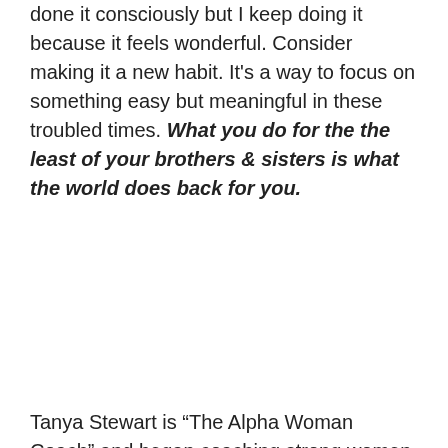done it consciously but I keep doing it because it feels wonderful. Consider making it a new habit. It's a way to focus on something easy but meaningful in these troubled times. What you do for the the least of your brothers & sisters is what the world does back for you.
[Figure (infographic): Advertisement banner for Fearless Focus Coaching featuring a woman in blue dress, text 'STOP STRUGGLING TO FIND HAPPINESS, FEEL LOVED AND MAKE MONEY - LEARN TO HAVE MORE AND BALANCE IT ALL.' with Fearless logo and pink bottom bar.]
Tanya Stewart is “The Alpha Woman Coach” and began coaching strong women as a Divorce lawyer in her own high conflict law firm 20 years ago. She understands how Alpha women are wired and using her Master’s level Metaphysics